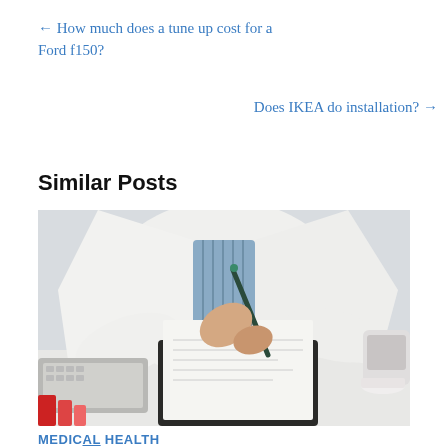← How much does a tune up cost for a Ford f150?
Does IKEA do installation? →
Similar Posts
[Figure (photo): A person in a white lab coat writing on a clipboard at a desk, with a keyboard and medical supplies nearby.]
MEDICAL HEALTH